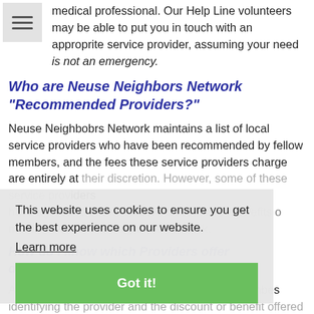medical professional. Our Help Line volunteers may be able to put you in touch with an approprite service provider, assuming your need is not an emergency.
Who are Neuse Neighbors Network "Recommended Providers?"
Neuse Neighbobrs Network maintains a list of local service providers who have been recommended by fellow members, and the fees these service providers charge are entirely at their discretion. However, some of these service providers have agreed to offer exclusive discounts or benefits to members of Neuse Neighbors Network.
How do I know which Providers offer discounts?
A coupon booklet will be provided to all new members identifying the provider and the discount or benefit offered